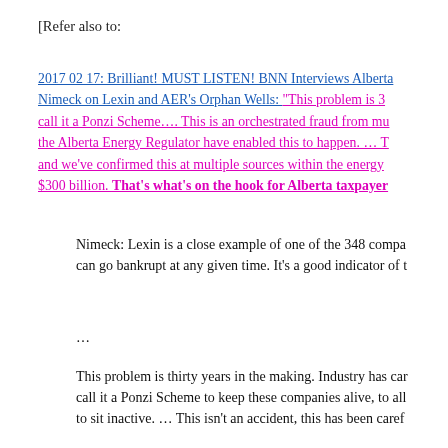[Refer also to:
2017 02 17: Brilliant! MUST LISTEN! BNN Interviews Alberta Nimeck on Lexin and AER’s Orphan Wells: “This problem is 30 call it a Ponzi Scheme…. This is an orchestrated fraud from mu the Alberta Energy Regulator have enabled this to happen. … T and we’ve confirmed this at multiple sources within the energy $300 billion. That’s what’s on the hook for Alberta taxpayers
Nimeck: Lexin is a close example of one of the 348 compa can go bankrupt at any given time. It’s a good indicator of t
…
This problem is thirty years in the making. Industry has car call it a Ponzi Scheme to keep these companies alive, to all to sit inactive. … This isn’t an accident, this has been caref